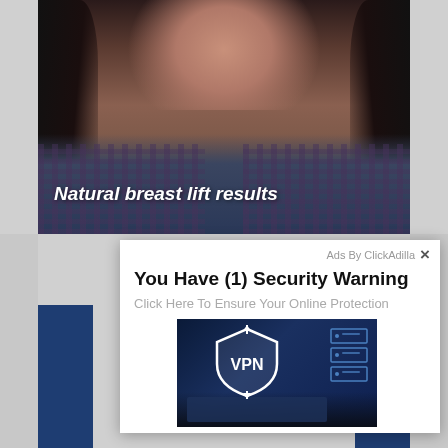[Figure (photo): Photo of a woman with dark long hair wearing hoop earrings and a plaid shirt over a blue top, with text overlay 'Natural breast lift results']
Natural breast lift results
Ads By ClickAdilla ×
You Have (1) Security Warning
Click Here To Ensure Your Online Protection
[Figure (photo): VPN advertisement image showing hands on a laptop keyboard with a glowing VPN shield logo and server rack icons]